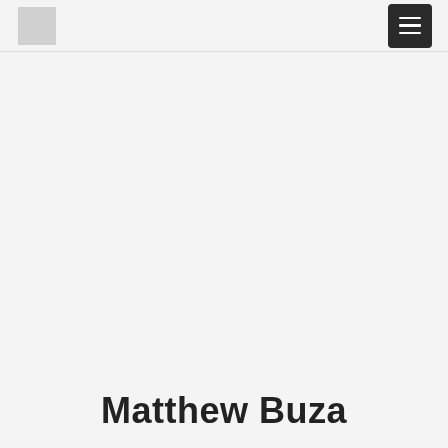[logo] [menu button]
Matthew Buza